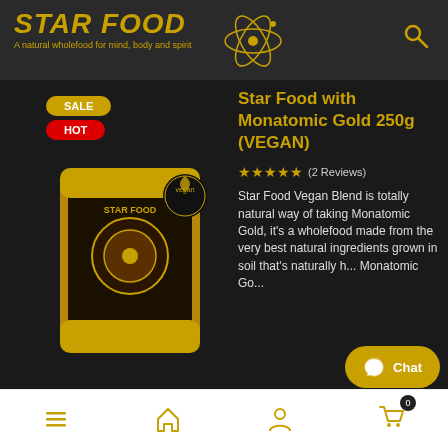STAR FOOD - A natural wholefood for mind, body and spirit
SALE
HOT
Star Food with Monatomic Gold 250g (VEGAN)
★★★★★ (2 Reviews)
[Figure (photo): Product photo of Star Food with Monatomic Gold 250g pouch in gold packaging with vegan badge]
Star Food Vegan Blend is totally natural way of taking Monatomic Gold, it's a wholefood made from the very best natural ingredients grown in soil that's naturally h... Monatomic Go...
Chat
Navigation bar with menu, home, account, and cart (0) icons